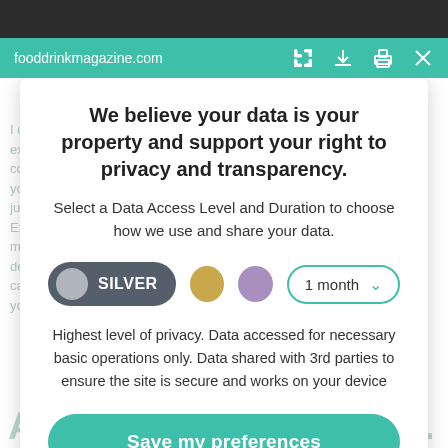fooddrinkmagazine.com
We believe your data is your property and support your right to privacy and transparency.
Select a Data Access Level and Duration to choose how we use and share your data.
[Figure (infographic): Privacy level selector with SILVER toggle pill selected, gold dot, purple dot, and 1 month dropdown]
Highest level of privacy. Data accessed for necessary basic operations only. Data shared with 3rd parties to ensure the site is secure and works on your device
Save my preferences
Customize   Privacy policy